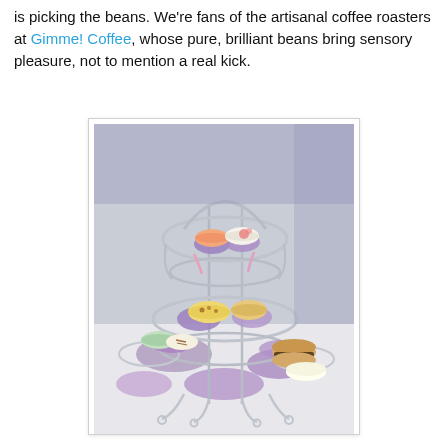is picking the beans. We're fans of the artisanal coffee roasters at Gimme! Coffee, whose pure, brilliant beans bring sensory pleasure, not to mention a real kick.
[Figure (photo): A two-tiered chrome wire stand holding colorful macarons and decorated cookies/cupcakes in purple paper cups, displayed on a white table with purple fabric accents.]